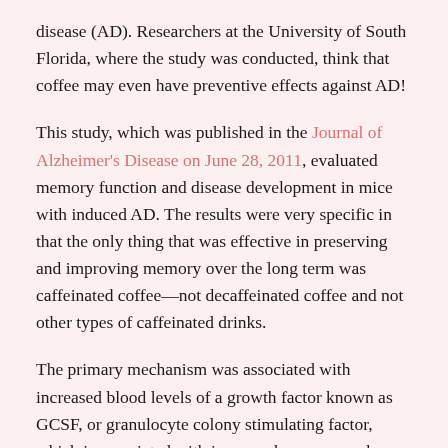disease (AD). Researchers at the University of South Florida, where the study was conducted, think that coffee may even have preventive effects against AD!
This study, which was published in the Journal of Alzheimer's Disease on June 28, 2011, evaluated memory function and disease development in mice with induced AD. The results were very specific in that the only thing that was effective in preserving and improving memory over the long term was caffeinated coffee—not decaffeinated coffee and not other types of caffeinated drinks.
The primary mechanism was associated with increased blood levels of a growth factor known as GCSF, or granulocyte colony stimulating factor, which is associated with improved memory and a decrease in the brain's production of beta-amyloid, which is the plaque found in the brains of people with AD. GCSF creates new connections between brain cells and increases the birth of new neurons in the brain. Coffee also